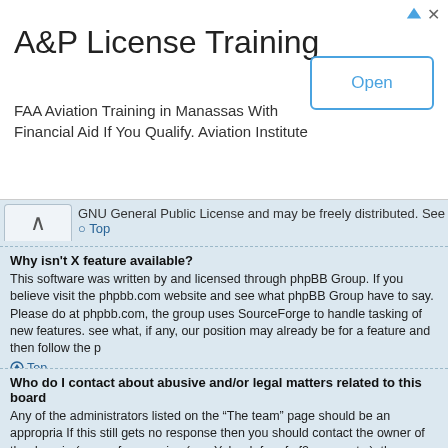[Figure (screenshot): Advertisement banner for A&P License Training — FAA Aviation Training in Manassas with Financial Aid. Includes an 'Open' button.]
GNU General Public License and may be freely distributed. See the link for
Top
Why isn't X feature available?
This software was written by and licensed through phpBB Group. If you believe visit the phpbb.com website and see what phpBB Group have to say. Please do at phpbb.com, the group uses SourceForge to handle tasking of new features. see what, if any, our position may already be for a feature and then follow the p
Top
Who do I contact about abusive and/or legal matters related to this board
Any of the administrators listed on the “The team” page should be an appropria If this still gets no response then you should contact the owner of the domain (o on a free service (e.g. Yahoo!, free.fr, f2s.com, etc.), the management or abuse note that the phpBB Group has absolutely no jurisdiction and cannot in any w by whom this board is used. Do not contact the phpBB Group in relation to any defamatory comment, etc.) matter not directly related to the phpBB.com webs itself. If you do e-mail phpBB Group about any third party use of this software response or no response at all.
Top